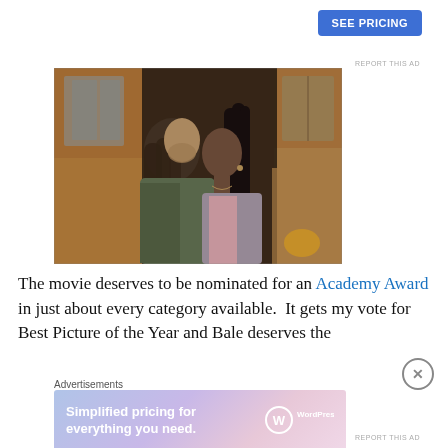[Figure (other): Blue 'SEE PRICING' button in upper right area]
REPORT THIS AD
[Figure (photo): Movie still showing two actors facing each other closely — a man with long hair and a woman with dark hair in a kitchen setting]
The movie deserves to be nominated for an Academy Award in just about every category available.  It gets my vote for Best Picture of the Year and Bale deserves the
Advertisements
[Figure (other): WordPress.com advertisement banner: 'Simplified pricing for everything you need.' with WordPress logo]
REPORT THIS AD